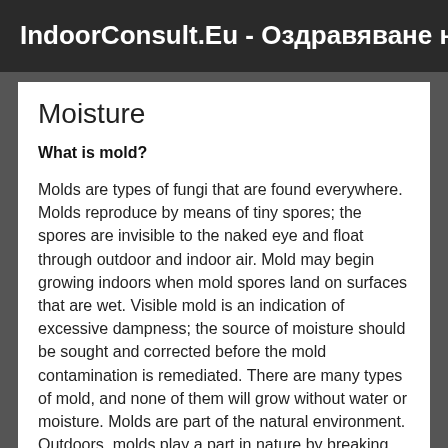IndoorConsult.Eu - Оздравяване на бита
Moisture
What is mold?
Molds are types of fungi that are found everywhere. Molds reproduce by means of tiny spores; the spores are invisible to the naked eye and float through outdoor and indoor air. Mold may begin growing indoors when mold spores land on surfaces that are wet. Visible mold is an indication of excessive dampness; the source of moisture should be sought and corrected before the mold contamination is remediated. There are many types of mold, and none of them will grow without water or moisture. Molds are part of the natural environment. Outdoors, molds play a part in nature by breaking down dead organic matter such as fallen leaves and dead trees, but indoors, mold growth should be avoided. There is no practical way to eliminate all mold and mold spores in the indoor environment; the way to control indoor mold growth is to control moisture.